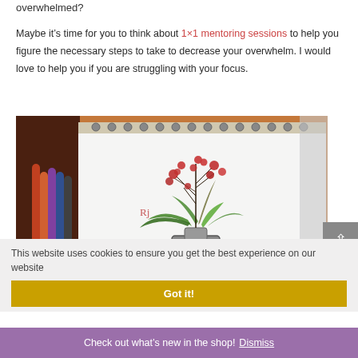overwhelmed?
Maybe it’s time for you to think about 1×1 mentoring sessions to help you figure the necessary steps to take to decrease your overwhelm. I would love to help you if you are struggling with your focus.
[Figure (photo): A sketchbook open showing a pencil and watercolor drawing of a vase with flowers (red blossoms on dark branches with green leaves), set against a blurred background of colored pencils and art supplies.]
This website uses cookies to ensure you get the best experience on our website
Got it!
Check out what’s new in the shop! Dismiss